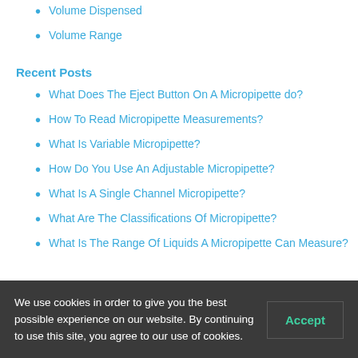Volume Dispensed
Volume Range
Recent Posts
What Does The Eject Button On A Micropipette do?
How To Read Micropipette Measurements?
What Is Variable Micropipette?
How Do You Use An Adjustable Micropipette?
What Is A Single Channel Micropipette?
What Are The Classifications Of Micropipette?
What Is The Range Of Liquids A Micropipette Can Measure?
We use cookies in order to give you the best possible experience on our website. By continuing to use this site, you agree to our use of cookies.